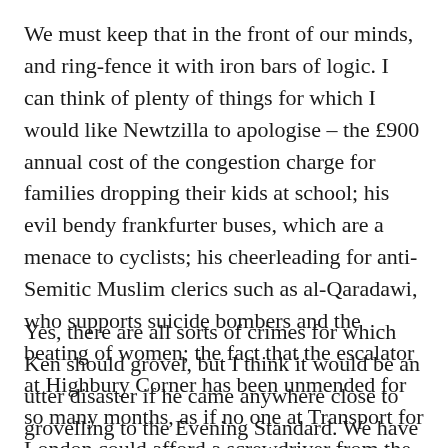We must keep that in the front of our minds, and ring-fence it with iron bars of logic. I can think of plenty of things for which I would like Newtzilla to apologise – the £900 annual cost of the congestion charge for families dropping their kids at school; his evil bendy frankfurter buses, which are a menace to cyclists; his cheerleading for anti-Semitic Muslim clerics such as al-Qaradawi, who supports suicide bombers and the beating of women; the fact that the escalator at Highbury Corner has been unmended for so many months, as if no one at Transport for London could afford a screwdriver from the astonishing sums we pay them in Tube fares.
Yes, there are all sorts of crimes for which Ken should grovel, but I think it would be an utter disaster if he came anywhere close to grovelling to the Evening Standard. We have a cult of victimhood in this country, in which the complainants are often not the victims themselves, but self-appointed priests of the cult of victimhood, who believe it is up to them to decide